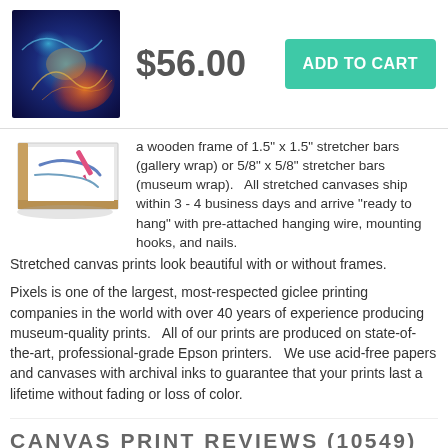[Figure (photo): Product thumbnail image of a colorful canvas print with blue, orange, and teal hues]
$56.00
ADD TO CART
[Figure (photo): Side-view illustration of a stretched canvas with marker/pen on it and wooden frame edges visible]
a wooden frame of 1.5" x 1.5" stretcher bars (gallery wrap) or 5/8" x 5/8" stretcher bars (museum wrap).   All stretched canvases ship within 3 - 4 business days and arrive "ready to hang" with pre-attached hanging wire, mounting hooks, and nails.
Stretched canvas prints look beautiful with or without frames.
Pixels is one of the largest, most-respected giclee printing companies in the world with over 40 years of experience producing museum-quality prints.   All of our prints are produced on state-of-the-art, professional-grade Epson printers.   We use acid-free papers and canvases with archival inks to guarantee that your prints last a lifetime without fading or loss of color.
CANVAS PRINT REVIEWS (10549)
AVERAGE RATING (4.85 STARS):
[Figure (illustration): Three gold/yellow star rating icons]